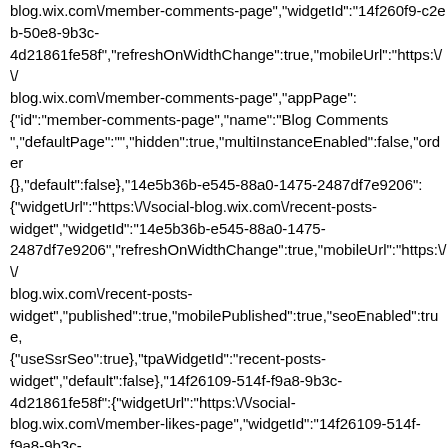blog.wix.com\/member-comments-page","widgetId":"14f260f9-c2eb-50e8-9b3c-4d21861fe58f","refreshOnWidthChange":true,"mobileUrl":"https:\/\/blog.wix.com\/member-comments-page","appPage":{"id":"member-comments-page","name":"Blog Comments","defaultPage":"","hidden":true,"multiInstanceEnabled":false,"order":{},"default":false},"14e5b36b-e545-88a0-1475-2487df7e9206":{"widgetUrl":"https:\/\/social-blog.wix.com\/recent-posts-widget","widgetId":"14e5b36b-e545-88a0-1475-2487df7e9206","refreshOnWidthChange":true,"mobileUrl":"https:\/\/blog.wix.com\/recent-posts-widget","published":true,"mobilePublished":true,"seoEnabled":true,{"useSsrSeo":true},"tpaWidgetId":"recent-posts-widget","default":false},"14f26109-514f-f9a8-9b3c-4d21861fe58f":{"widgetUrl":"https:\/\/social-blog.wix.com\/member-likes-page","widgetId":"14f26109-514f-f9a8-9b3c-4d21861fe58f","refreshOnWidthChange":true,"mobileUrl":"https:\/\/blog.wix.com\/member-likes-page","appPage":{"id":"member-likes-page","name":"Blog Likes","defaultPage":"","hidden":true,"multiInstanceEnabled":false,{},"default":false},"14c1462a-97f2-9f6a-7bb7-f5541f23caa6":{"widgetUrl":"https:\/\/editor.wixapps.net\/render\/prod\/editor\/com blog-ooi\/1.258.0\/Blog","widgetId":"14c1462a-97f2-9f6a-7bb7-f5541f23caa6","refreshOnWidthChange":true,"mobileUrl":"https:\/\/